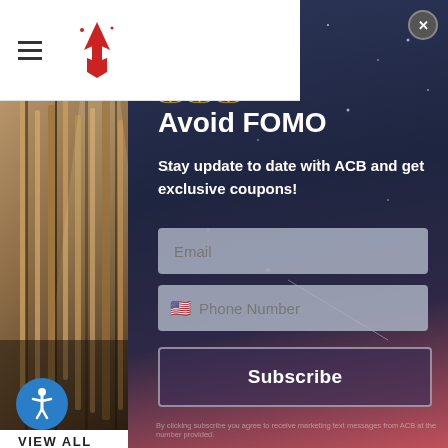[Figure (screenshot): Website header with hamburger menu and ACB logo with red arrow/rocket icon]
[Figure (photo): Musical instruments (brass/woodwinds) arranged vertically in a shop, with dramatic lighting]
VIEW ALL
CUSTOMERS A
🔔🔔🔔
Avoid FOMO
Stay update to date with ACB and get exclusive coupons!
Email
Phone Number
Subscribe
By clicking subscribe you agree to receive marketing text messages from ACB at the number provided.